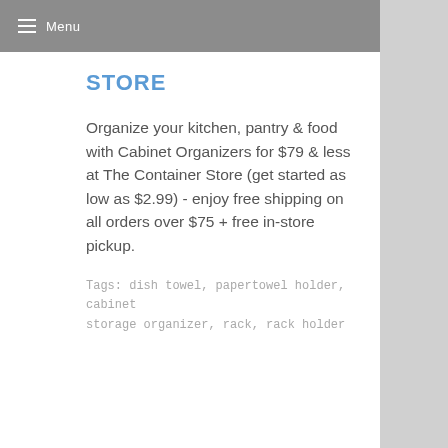Menu
STORE
Organize your kitchen, pantry & food with Cabinet Organizers for $79 & less at The Container Store (get started as low as $2.99) - enjoy free shipping on all orders over $75 + free in-store pickup.
Tags: dish towel, papertowel holder, cabinet storage organizer, rack, rack holder